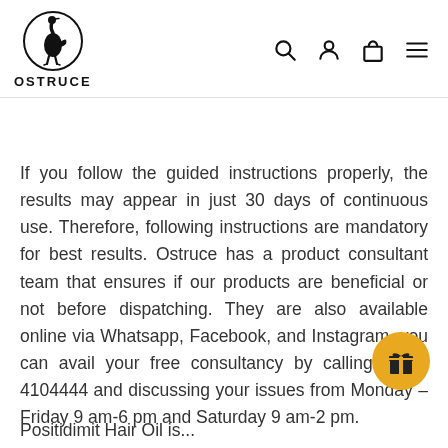[Figure (logo): Ostruce brand logo: an ostrich inside a circle with the text OSTRUCE below]
If you follow the guided instructions properly, the results may appear in just 30 days of continuous use. Therefore, following instructions are mandatory for best results. Ostruce has a product consultant team that ensures if our products are beneficial or not before dispatching. They are also available online via Whatsapp, Facebook, and Instagram, you can avail your free consultancy by calling 0335-4104444 and discussing your issues from Monday – Friday 9 am-6 pm and Saturday 9 am-2 pm.
Positidimit Hair Oil is...